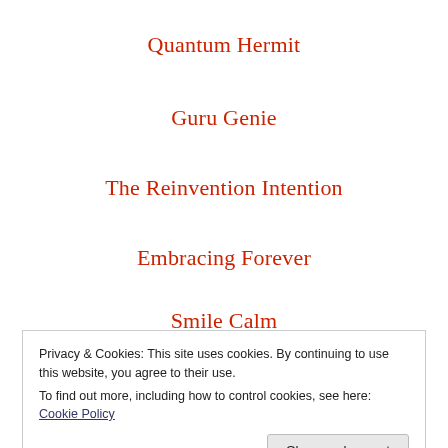Quantum Hermit
Guru Genie
The Reinvention Intention
Embracing Forever
Smile Calm
Privacy & Cookies: This site uses cookies. By continuing to use this website, you agree to their use.
To find out more, including how to control cookies, see here: Cookie Policy
Close and accept
Storiesthatmustnotdie